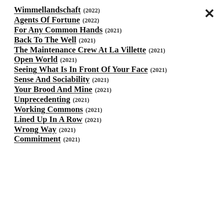Wimmellandschaft (2022)
Agents Of Fortune (2022)
For Any Common Hands (2021)
Back To The Well (2021)
The Maintenance Crew At La Villette (2021)
Open World (2021)
Seeing What Is In Front Of Your Face (2021)
Sense And Sociability (2021)
Your Brood And Mine (2021)
Unprecedenting (2021)
Working Commons (2021)
Lined Up In A Row (2021)
Wrong Way (2021)
Commitment (2021)